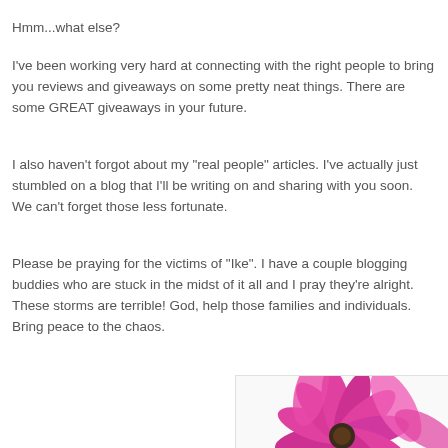Hmm...what else?
I've been working very hard at connecting with the right people to bring you reviews and giveaways on some pretty neat things. There are some GREAT giveaways in your future.
I also haven't forgot about my "real people" articles. I've actually just stumbled on a blog that I'll be writing on and sharing with you soon. We can't forget those less fortunate.
Please be praying for the victims of "Ike". I have a couple blogging buddies who are stuck in the midst of it all and I pray they're alright. These storms are terrible! God, help those families and individuals. Bring peace to the chaos.
[Figure (photo): A bright pink daisy/gerbera flower on a white background, partially cropped, showing petals and center]